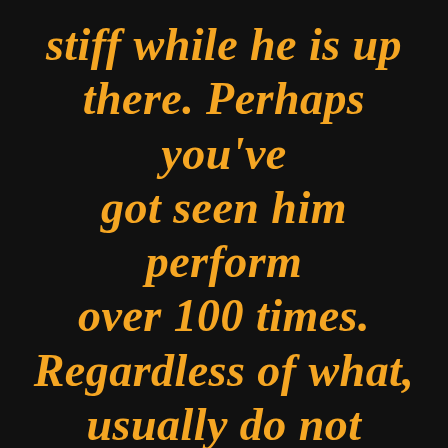stiff while he is up there. Perhaps you've got seen him perform over 100 times. Regardless of what, usually do not develop into a mess that is ↑ wasted. Save the